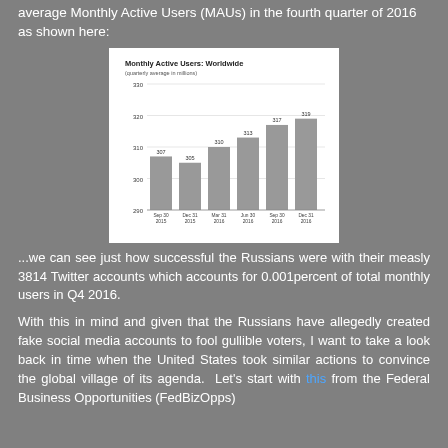average Monthly Active Users (MAUs) in the fourth quarter of 2016 as shown here:
[Figure (bar-chart): Monthly Active Users: Worldwide (quarterly average in millions)]
...we can see just how successful the Russians were with their measly 3814 Twitter accounts which accounts for 0.001percent of total monthly users in Q4 2016.
With this in mind and given that the Russians have allegedly created fake social media accounts to fool gullible voters, I want to take a look back in time when the United States took similar actions to convince the global village of its agenda.  Let's start with this from the Federal Business Opportunities (FedBizOpps)